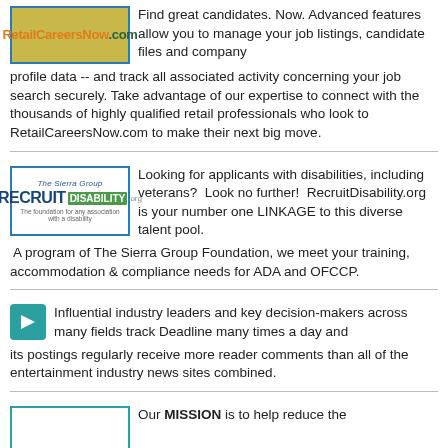[Figure (logo): RetailCareersNow.com logo — orange text on olive/gold background with blue border]
Find great candidates. Now. Advanced features allow you to manage your job listings, candidate files and company profile data -- and track all associated activity concerning your job search securely. Take advantage of our expertise to connect with the thousands of highly qualified retail professionals who look to RetailCareersNow.com to make their next big move.
[Figure (logo): RecruitDisability.org logo — The Sierra Group Recruit Disability with green and blue text on white background with blue border]
Looking for applicants with disabilities, including veterans?  Look no further!  RecruitDisability.org is your number one LINKAGE to this diverse talent pool.  A program of The Sierra Group Foundation, we meet your training, accommodation & compliance needs for ADA and OFCCP.
[Figure (logo): Deadline small green/teal icon]
Influential industry leaders and key decision-makers across many fields track Deadline many times a day and its postings regularly receive more reader comments than all of the  entertainment industry news sites combined.
[Figure (logo): Partial logo with teal border at bottom of page]
Our MISSION is to help reduce the